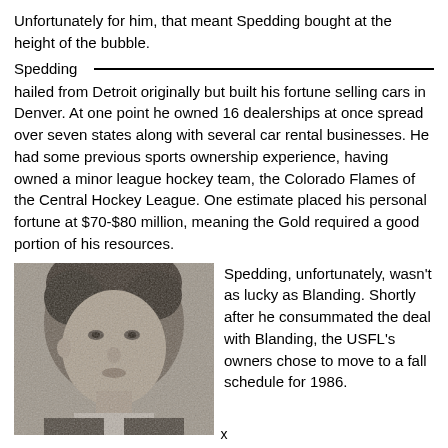Unfortunately for him, that meant Spedding bought at the height of the bubble.
Spedding hailed from Detroit originally but built his fortune selling cars in Denver. At one point he owned 16 dealerships at once spread over seven states along with several car rental businesses. He had some previous sports ownership experience, having owned a minor league hockey team, the Colorado Flames of the Central Hockey League. One estimate placed his personal fortune at $70-$80 million, meaning the Gold required a good portion of his resources.
[Figure (photo): Black and white portrait photo of a man, likely Spedding, facing slightly to the right.]
Spedding, unfortunately, wasn't as lucky as Blanding. Shortly after he consummated the deal with Blanding, the USFL's owners chose to move to a fall schedule for 1986.
x